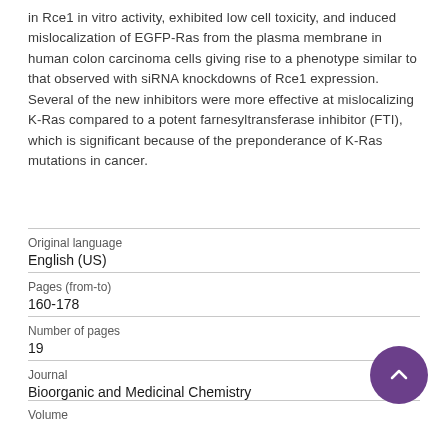in Rce1 in vitro activity, exhibited low cell toxicity, and induced mislocalization of EGFP-Ras from the plasma membrane in human colon carcinoma cells giving rise to a phenotype similar to that observed with siRNA knockdowns of Rce1 expression. Several of the new inhibitors were more effective at mislocalizing K-Ras compared to a potent farnesyltransferase inhibitor (FTI), which is significant because of the preponderance of K-Ras mutations in cancer.
| Field | Value |
| --- | --- |
| Original language | English (US) |
| Pages (from-to) | 160-178 |
| Number of pages | 19 |
| Journal | Bioorganic and Medicinal Chemistry |
| Volume |  |